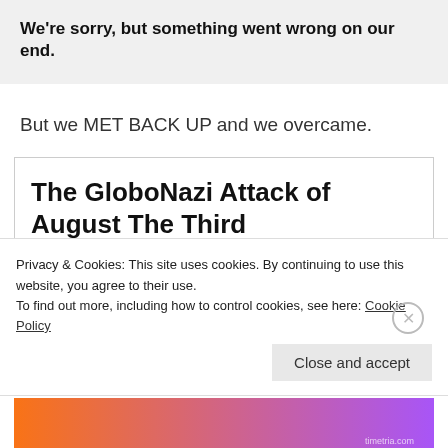We're sorry, but something went wrong on our end.
But we MET BACK UP and we overcame.
The GloboNazi Attack of August The Third
[Figure (screenshot): Gab social media preview showing 'gab' logo in green and error text 'We're sorry, but something went wrong on our end.']
Please post all comms here. This will be faster
Privacy & Cookies: This site uses cookies. By continuing to use this website, you agree to their use. To find out more, including how to control cookies, see here: Cookie Policy
Close and accept